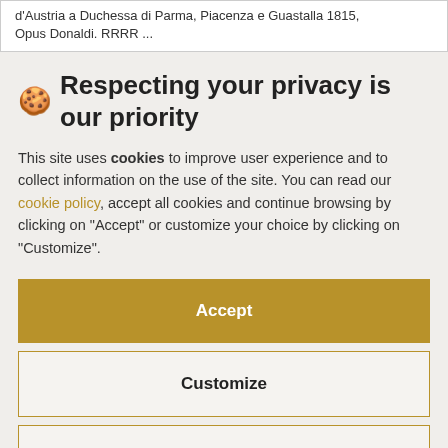d'Austria a Duchessa di Parma, Piacenza e Guastalla 1815, Opus Donaldi. RRRR ...
🍪 Respecting your privacy is our priority
This site uses cookies to improve user experience and to collect information on the use of the site. You can read our cookie policy, accept all cookies and continue browsing by clicking on "Accept" or customize your choice by clicking on "Customize".
Accept
Customize
Continue without accepting